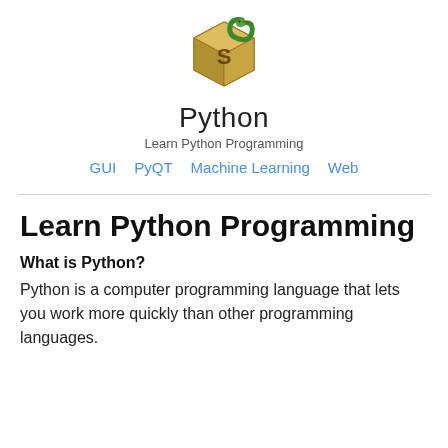[Figure (logo): Python snake logo with a green snake wrapped around a yellow/brown cube with an 'S' letter]
Python
Learn Python Programming
GUI  PyQT  Machine Learning  Web
Learn Python Programming
What is Python?
Python is a computer programming language that lets you work more quickly than other programming languages.